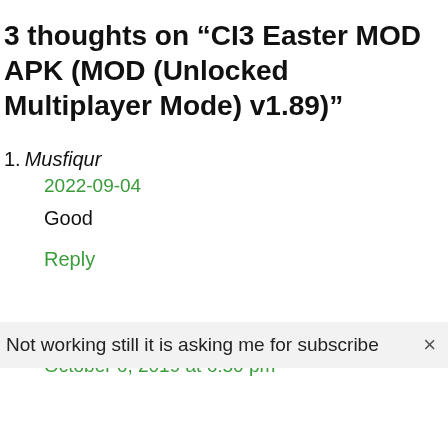3 thoughts on “CI3 Easter MOD APK (MOD (Unlocked Multiplayer Mode) v1.89)”
1. Musfiqur
2022-09-04
Good
Reply
2. Niks
October 6, 2019 at 6:50 pm
Not working still it is asking me for subscribe